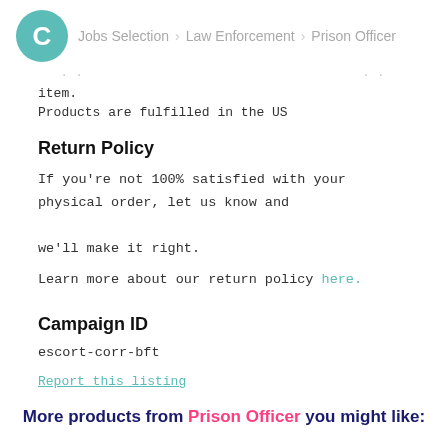C  Jobs Selection > Law Enforcement > Prison Officer
item.
Products are fulfilled in the US
Return Policy
If you're not 100% satisfied with your physical order, let us know and we'll make it right.
Learn more about our return policy here.
Campaign ID
escort-corr-bft
Report this listing
More products from Prison Officer you might like: